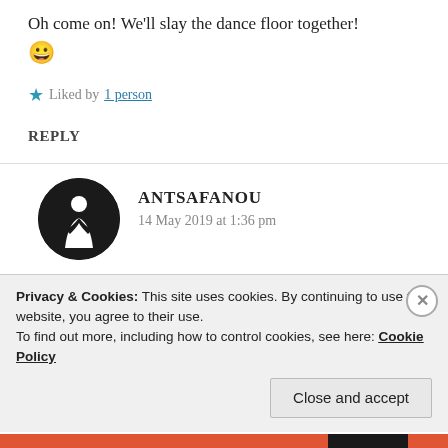Oh come on! We'll slay the dance floor together! 😀
★ Liked by 1 person
REPLY
ANTSAFANOU
14 May 2019 at 1:36 pm
Ha? ❤
Privacy & Cookies: This site uses cookies. By continuing to use this website, you agree to their use.
To find out more, including how to control cookies, see here: Cookie Policy
Close and accept